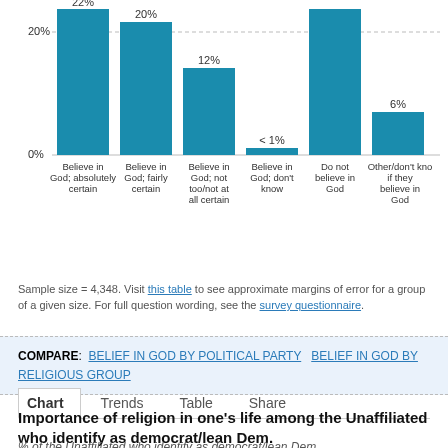[Figure (bar-chart): Belief in God among Unaffiliated who identify as democrat/lean Dem]
Sample size = 4,348. Visit this table to see approximate margins of error for a group of a given size. For full question wording, see the survey questionnaire.
COMPARE: BELIEF IN GOD BY POLITICAL PARTY   BELIEF IN GOD BY RELIGIOUS GROUP
Chart   Trends   Table   Share
Importance of religion in one's life among the Unaffiliated who identify as democrat/lean Dem.
% of the Unaffiliated who identify as democrat/lean Dem